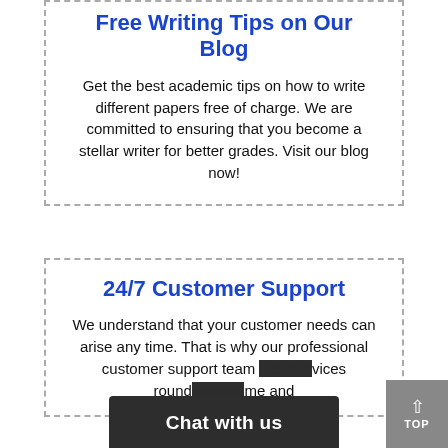Free Writing Tips on Our Blog
Get the best academic tips on how to write different papers free of charge. We are committed to ensuring that you become a stellar writer for better grades. Visit our blog now!
24/7 Customer Support
We understand that your customer needs can arise any time. That is why our professional customer support team [provides] services round [the clock, any ti]me and